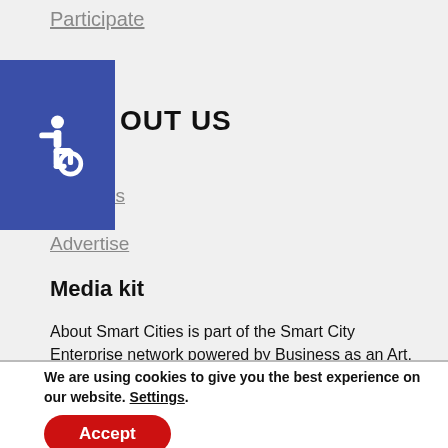Participate
[Figure (other): Accessibility icon — white wheelchair symbol on blue background]
ABOUT US
About us
Advertise
Media kit
About Smart Cities is part of the Smart City Enterprise network powered by Business as an Art, ltd., Czech republic
We are using cookies to give you the best experience on our website. Settings.
Accept